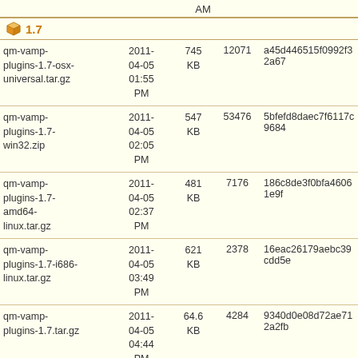AM
1.7
| Name | Date | Size | Count | Hash |
| --- | --- | --- | --- | --- |
| qm-vamp-plugins-1.7-osx-universal.tar.gz | 2011-04-05 01:55 PM | 745 KB | 12071 | a45d446515f0992f32a67... |
| qm-vamp-plugins-1.7-win32.zip | 2011-04-05 02:05 PM | 547 KB | 53476 | 5bfefd8daec7f6117c9684... |
| qm-vamp-plugins-1.7-amd64-linux.tar.gz | 2011-04-05 02:37 PM | 481 KB | 7176 | 186c8de3f0bfa46061e9f... |
| qm-vamp-plugins-1.7-i686-linux.tar.gz | 2011-04-05 03:49 PM | 621 KB | 2378 | 16eac26179aebc39cdd5e... |
| qm-vamp-plugins-1.7.tar.gz | 2011-04-05 04:44 PM | 64.6 KB | 4284 | 9340d0e08d72ae712a2fb... |